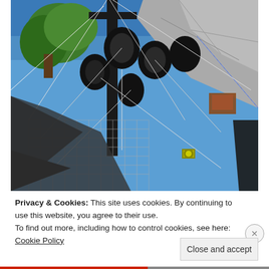[Figure (photo): Outdoor photograph of a sailboat's mast and rigging area, showing black pulleys and blocks, ropes and lines, netting, and a blue-and-white rope. A tarp/silver cover is visible at upper right. Trees and blue sky visible in the background.]
Privacy & Cookies: This site uses cookies. By continuing to use this website, you agree to their use.
To find out more, including how to control cookies, see here: Cookie Policy